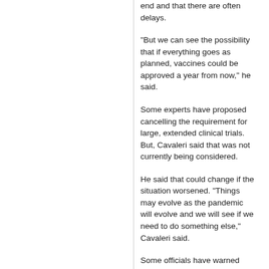end and that there are often delays.
"But we can see the possibility that if everything goes as planned, vaccines could be approved a year from now," he said.
Some experts have proposed cancelling the requirement for large, extended clinical trials. But, Cavaleri said that was not currently being considered.
He said that could change if the situation worsened. "Things may evolve as the pandemic will evolve and we will see if we need to do something else," Cavaleri said.
Some officials have warned that a vaccine for COVID-19